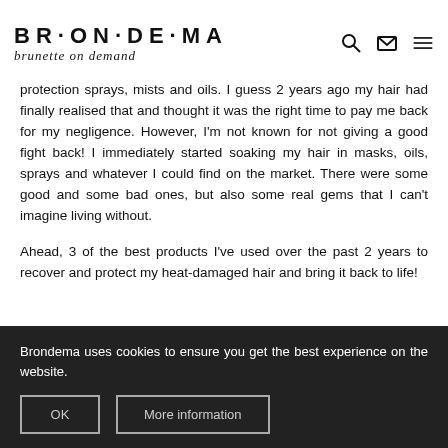BRONDEMA brunette on demand
protection sprays, mists and oils. I guess 2 years ago my hair had finally realised that and thought it was the right time to pay me back for my negligence. However, I'm not known for not giving a good fight back! I immediately started soaking my hair in masks, oils, sprays and whatever I could find on the market. There were some good and some bad ones, but also some real gems that I can't imagine living without.
Ahead, 3 of the best products I've used over the past 2 years to recover and protect my heat-damaged hair and bring it back to life!
Brondema uses cookies to ensure you get the best experience on the website.